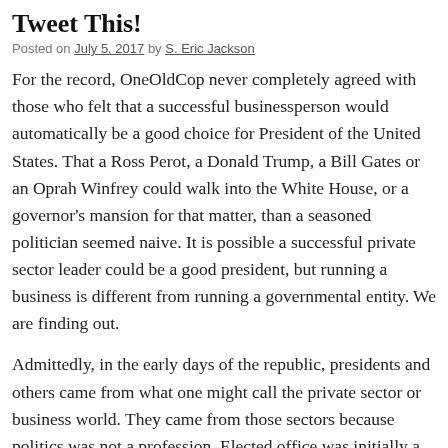Tweet This!
Posted on July 5, 2017 by S. Eric Jackson
For the record, OneOldCop never completely agreed with those who felt that a successful businessperson would automatically be a good choice for President of the United States. That a Ross Perot, a Donald Trump, a Bill Gates or an Oprah Winfrey could walk into the White House, or a governor's mansion for that matter, than a seasoned politician seemed naive. It is possible a successful private sector leader could be a great president, but running a business is different from running a governmental entity. We are finding out.
Admittedly, in the early days of the republic, presidents and others came from what one might call the private sector or business world. They came from those sectors because politics was not a profession. Elected office was initially a form of service. That has not been the case for decades.
With that said, this piece is not about how successful or effective Trump may be. He may turn out to be a successful president, or he may turn out to be another Carter. However his presidency turns out. He is changing the ga